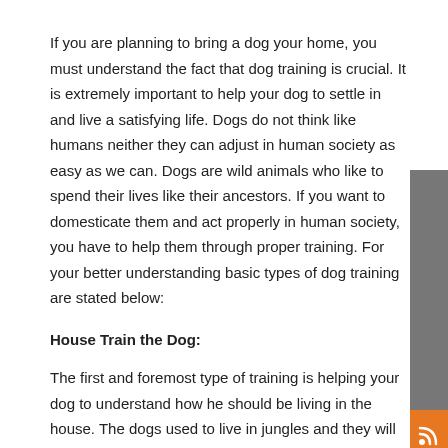If you are planning to bring a dog your home, you must understand the fact that dog training is crucial. It is extremely important to help your dog to settle in and live a satisfying life. Dogs do not think like humans neither they can adjust in human society as easy as we can. Dogs are wild animals who like to spend their lives like their ancestors. If you want to domesticate them and act properly in human society, you have to help them through proper training. For your better understanding basic types of dog training are stated below:
House Train the Dog:
The first and foremost type of training is helping your dog to understand how he should be living in the house. The dogs used to live in jungles and they will act the same in the houses if they are not trained properly. You have to house train your dog so that they behave properly and should not create a mess even when